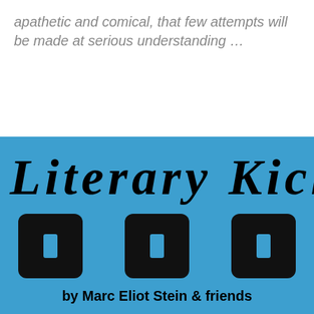apathetic and comical, that few attempts will be made at serious understanding …
Literary Kicks
[Figure (illustration): Three dark square icon boxes with rounded corners, each containing a small light-colored rectangle, arranged in a row on a blue background]
by Marc Eliot Stein & friends